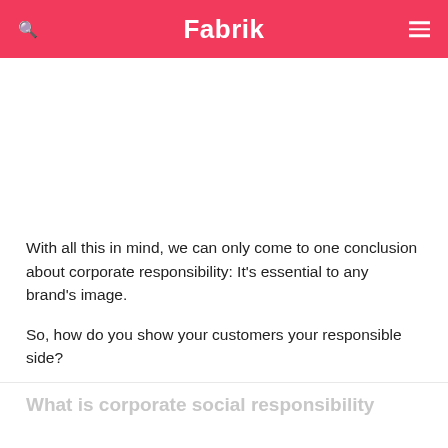Fabrik
With all this in mind, we can only come to one conclusion about corporate responsibility: It's essential to any brand's image.
So, how do you show your customers your responsible side?
What is corporate social responsibility